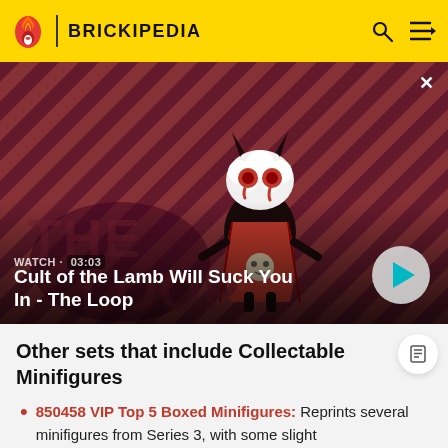BRICKIPEDIA
[Figure (screenshot): Video thumbnail showing a cartoon lamb character in a red cape with devil horns against a diagonal striped dark red background. Title text 'Cult of the Lamb Will Suck You In - The Loop' with watch time 03:03 and a play button.]
Other sets that include Collectable Minifigures
850458 VIP Top 5 Boxed Minifigures: Reprints several minifigures from Series 3, with some slight